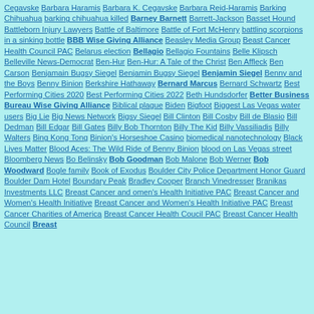Cegavske Barbara Haramis Barbara K. Cegavske Barbara Reid-Haramis Barking Chihuahua barking chihuahua killed Barney Barnett Barrett-Jackson Basset Hound Battleborn Injury Lawyers Battle of Baltimore Battle of Fort McHenry battling scorpions in a sinking bottle BBB Wise Giving Alliance Beasley Media Group Beast Cancer Health Council PAC Belarus election Bellagio Bellagio Fountains Belle Klipsch Belleville News-Democrat Ben-Hur Ben-Hur: A Tale of the Christ Ben Affleck Ben Carson Benjamain Bugsy Siegel Benjamin Bugsy Siegel Benjamin Siegel Benny and the Boys Benny Binion Berkshire Hathaway Bernard Marcus Bernard Schwartz Best Performing Cities 2020 Best Performing Cities 2022 Beth Hundsdorfer Better Business Bureau Wise Giving Alliance Biblical plague Biden Bigfoot Biggest Las Vegas water users Big Lie Big News Network Bigsy Siegel Bill Clinton Bill Cosby Bill de Blasio Bill Dedman Bill Edgar Bill Gates Billy Bob Thornton Billy The Kid Billy Vassiliadis Billy Walters Bing Kong Tong Binion's Horseshoe Casino biomedical nanotechnology Black Lives Matter Blood Aces: The Wild Ride of Benny Binion blood on Las Vegas street Bloomberg News Bo Belinsky Bob Goodman Bob Malone Bob Werner Bob Woodward Bogle family Book of Exodus Boulder City Police Department Honor Guard Boulder Dam Hotel Boundary Peak Bradley Cooper Branch Vinedresser Branikas Investments LLC Breast Cancer and omen's Health Initiative PAC Breast Cancer and Women's Health Initiative Breast Cancer and Women's Health Initiative PAC Breast Cancer Charities of America Breast Cancer Health Coucil PAC Breast Cancer Health Council Breast